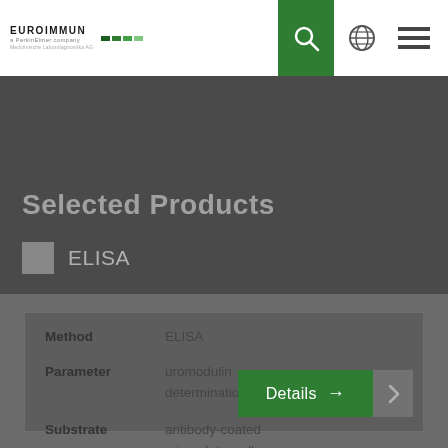[Figure (logo): EUROIMMUN logo with colored bar segments and navigation icons including search, globe, and menu]
Selected Products
ELISA
| Field | Value |
| --- | --- |
| Method | ELISA |
| Parameter | uromodulin determination in serum |
| Substrate | antibody-coated microplate wells |
| Species |  |
Details →